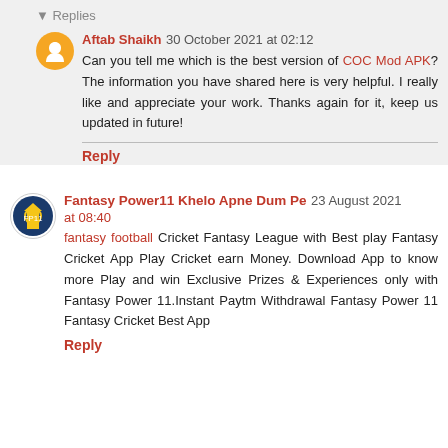Replies
Aftab Shaikh  30 October 2021 at 02:12
Can you tell me which is the best version of COC Mod APK? The information you have shared here is very helpful. I really like and appreciate your work. Thanks again for it, keep us updated in future!
Reply
Fantasy Power11 Khelo Apne Dum Pe  23 August 2021 at 08:40
fantasy football Cricket Fantasy League with Best play Fantasy Cricket App Play Cricket earn Money. Download App to know more Play and win Exclusive Prizes & Experiences only with Fantasy Power 11.Instant Paytm Withdrawal Fantasy Power 11 Fantasy Cricket Best App
Reply